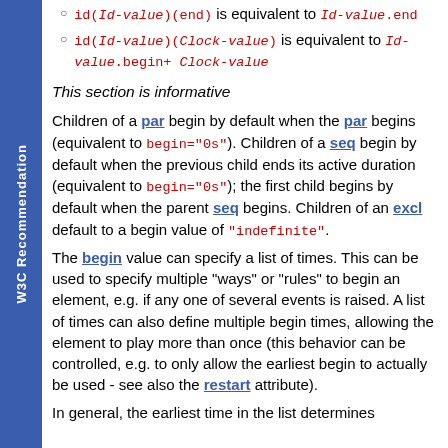id(Id-value)(end) is equivalent to Id-value.end
id(Id-value)(Clock-value) is equivalent to Id-value.begin+ Clock-value
This section is informative
Children of a par begin by default when the par begins (equivalent to begin="0s"). Children of a seq begin by default when the previous child ends its active duration (equivalent to begin="0s"); the first child begins by default when the parent seq begins. Children of an excl default to a begin value of "indefinite".
The begin value can specify a list of times. This can be used to specify multiple "ways" or "rules" to begin an element, e.g. if any one of several events is raised. A list of times can also define multiple begin times, allowing the element to play more than once (this behavior can be controlled, e.g. to only allow the earliest begin to actually be used - see also the restart attribute).
In general, the earliest time in the list determines